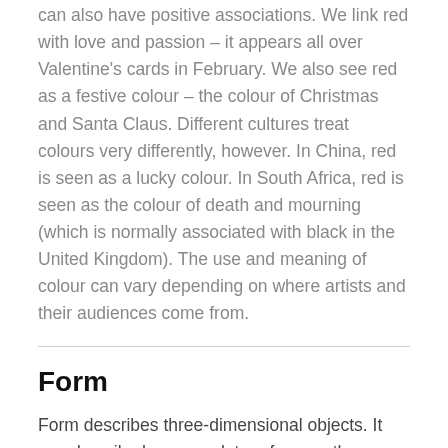can also have positive associations. We link red with love and passion – it appears all over Valentine's cards in February. We also see red as a festive colour – the colour of Christmas and Santa Claus. Different cultures treat colours very differently, however. In China, red is seen as a lucky colour. In South Africa, red is seen as the colour of death and mourning (which is normally associated with black in the United Kingdom). The use and meaning of colour can vary depending on where artists and their audiences come from.
Form
Form describes three-dimensional objects. It can describe how a sculpture forms a three-dimensional object in space. Form can also describe the illusion of how three-dimensional form is conveyed through the